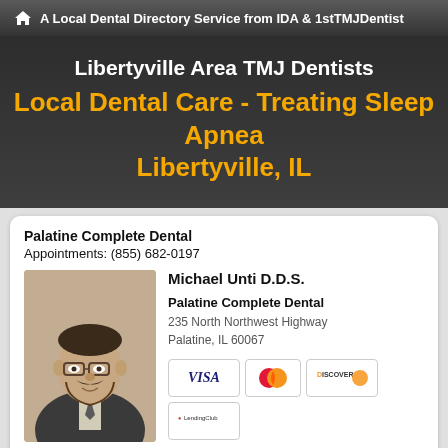A Local Dental Directory Service from IDA & 1stTMJDentist
Libertyville Area TMJ Dentists
Local Dental Care - Treating Sleep Apnea Libertyville, IL
Palatine Complete Dental
Appointments: (855) 682-0197
[Figure (photo): Headshot of Michael Unti D.D.S., a middle-aged man with glasses, mustache and beard, wearing a suit and tie]
Michael Unti D.D.S.

Palatine Complete Dental
235 North Northwest Highway
Palatine, IL 60067
[Figure (other): Payment method badges: VISA, MasterCard, DISCOVER, LendingClub]
Make Appt  Meet Dr. Unti  Website
more info ...